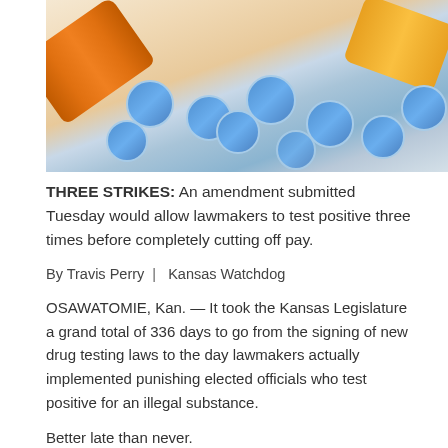[Figure (photo): Blue pills/tablets spilling out of orange prescription pill bottles on a light background]
THREE STRIKES: An amendment submitted Tuesday would allow lawmakers to test positive three times before completely cutting off pay.
By Travis Perry | Kansas Watchdog
OSAWATOMIE, Kan. — It took the Kansas Legislature a grand total of 336 days to go from the signing of new drug testing laws to the day lawmakers actually implemented punishing elected officials who test positive for an illegal substance.
Better late than never.
Legislation intended to enact punitive measures for doped-up lawmakers died a quick, quiet death nearly a month ago after Senate lawmakers declined to boost the bill past the February turnaround deadline.